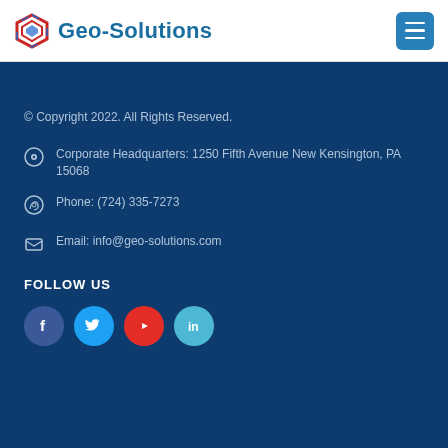Geo-Solutions
© Copyright 2022. All Rights Reserved.
Corporate Headquarters: 1250 Fifth Avenue New Kensington, PA 15068
Phone: (724) 335-7273
Email: info@geo-solutions.com
FOLLOW US
[Figure (illustration): Social media icons: Facebook (dark blue circle), Twitter (light blue circle), YouTube (red circle), LinkedIn (light teal circle)]